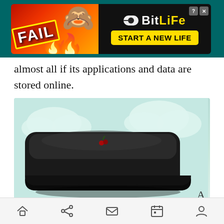[Figure (screenshot): Advertisement banner for BitLife mobile game featuring 'FAIL' text, cartoon character, flames, and 'START A NEW LIFE' button on dark background]
almost all if its applications and data are stored online.
[Figure (photo): Black glossy rectangular device (CherryPal cloud computer) with rounded corners, small cherry logo on top, shown against a light teal/mint cloudy background. Letter 'A' caption at bottom right.]
A cloud computer is desirable for a few reasons. One is that small chips like the CherryPal's 400 MHz Freescale processor can handle more tasks with the help of an outside server. Individual devices